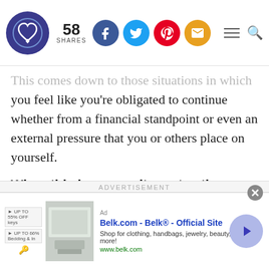58 SHARES — social share bar with Facebook, Twitter, Pinterest, Email icons
This comes down to those situations in which you feel like you’re obligated to continue whether from a financial standpoint or even an external pressure that you or others place on yourself.
When this happens, it creates the feeling of being caged.
[Figure (screenshot): Advertisement banner: Belk.com - Belk® - Official Site. Shop for clothing, handbags, jewelry, beauty, home & more! www.belk.com]